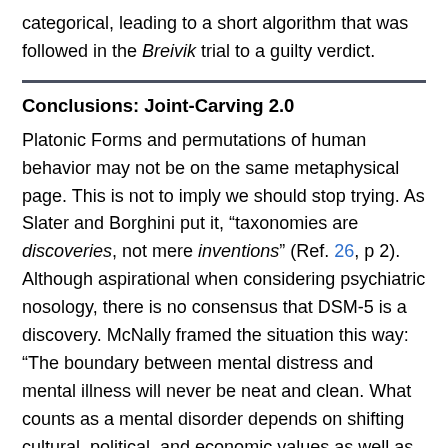categorical, leading to a short algorithm that was followed in the Breivik trial to a guilty verdict.
Conclusions: Joint-Carving 2.0
Platonic Forms and permutations of human behavior may not be on the same metaphysical page. This is not to imply we should stop trying. As Slater and Borghini put it, “taxonomies are discoveries, not mere inventions” (Ref. 26, p 2). Although aspirational when considering psychiatric nosology, there is no consensus that DSM-5 is a discovery. McNally framed the situation this way: “The boundary between mental distress and mental illness will never be neat and clean. What counts as a mental disorder depends on shifting cultural, political, and economic values as well as on scientific facts about how our psychology and biology can go wrong, producing suffering and functional impairment in everyday life. We’ll never have a clear-cut list of criteria that will enable us to identify all instances of